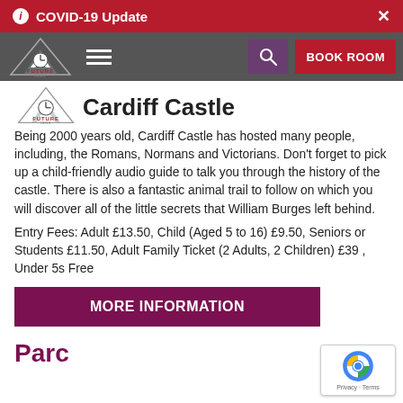i COVID-19 Update ×
[Figure (logo): Future Inns logo with mountain/arrow design and navigation bar with hamburger menu, search and BOOK ROOM buttons]
Cardiff Castle
Being 2000 years old, Cardiff Castle has hosted many people, including, the Romans, Normans and Victorians. Don't forget to pick up a child-friendly audio guide to talk you through the history of the castle. There is also a fantastic animal trail to follow on which you will discover all of the little secrets that William Burges left behind.
Entry Fees: Adult £13.50, Child (Aged 5 to 16) £9.50, Seniors or Students £11.50, Adult Family Ticket (2 Adults, 2 Children) £39 , Under 5s Free
MORE INFORMATION
Parc